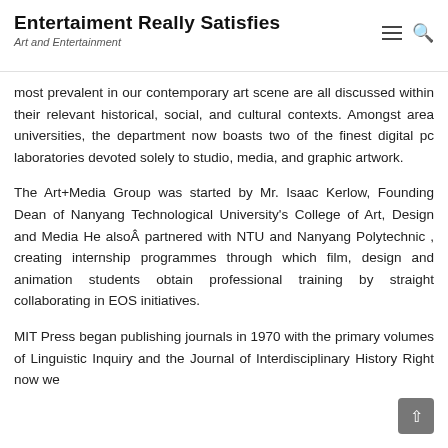Entertaiment Really Satisfies
Art and Entertainment
most prevalent in our contemporary art scene are all discussed within their relevant historical, social, and cultural contexts. Amongst area universities, the department now boasts two of the finest digital pc laboratories devoted solely to studio, media, and graphic artwork.
The Art+Media Group was started by Mr. Isaac Kerlow, Founding Dean of Nanyang Technological University's College of Art, Design and Media He alsoÂ partnered with NTU and Nanyang Polytechnic , creating internship programmes through which film, design and animation students obtain professional training by straight collaborating in EOS initiatives.
MIT Press began publishing journals in 1970 with the primary volumes of Linguistic Inquiry and the Journal of Interdisciplinary History Right now we publish over 30 titles in the arts and humanities,